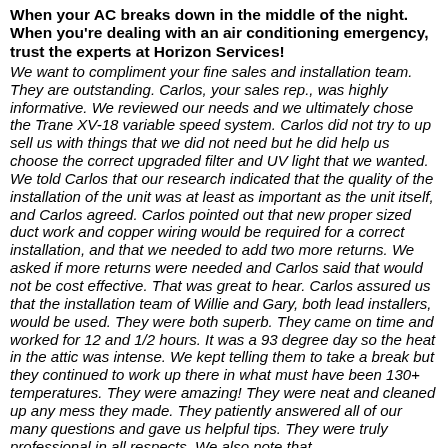When your AC breaks down in the middle of the night. When you're dealing with an air conditioning emergency, trust the experts at Horizon Services!
We want to compliment your fine sales and installation team. They are outstanding. Carlos, your sales rep., was highly informative. We reviewed our needs and we ultimately chose the Trane XV-18 variable speed system. Carlos did not try to up sell us with things that we did not need but he did help us choose the correct upgraded filter and UV light that we wanted. We told Carlos that our research indicated that the quality of the installation of the unit was at least as important as the unit itself, and Carlos agreed. Carlos pointed out that new proper sized duct work and copper wiring would be required for a correct installation, and that we needed to add two more returns. We asked if more returns were needed and Carlos said that would not be cost effective. That was great to hear. Carlos assured us that the installation team of Willie and Gary, both lead installers, would be used. They were both superb. They came on time and worked for 12 and 1/2 hours. It was a 93 degree day so the heat in the attic was intense. We kept telling them to take a break but they continued to work up there in what must have been 130+ temperatures. They were amazing! They were neat and cleaned up any mess they made. They patiently answered all of our many questions and gave us helpful tips. They were truly professional in all respects. We also note that